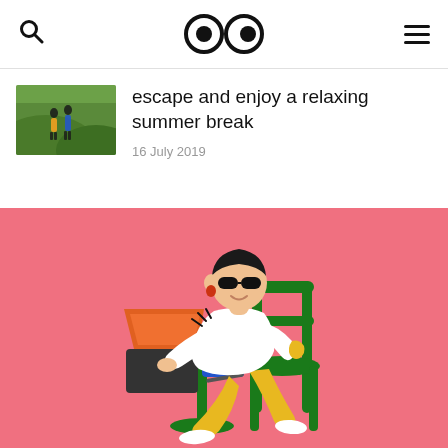Search | Logo (eyes) | Menu
[Figure (photo): Thumbnail photo of people walking on green grass hillside]
escape and enjoy a relaxing summer break
16 July 2019
[Figure (illustration): Flat style illustration of a person with dark hair wearing a white top and yellow pants, sitting on a green chair at a round green table, using an orange laptop and holding a yellow cup. A blue phone/tablet is on the table. Background is salmon/coral pink.]